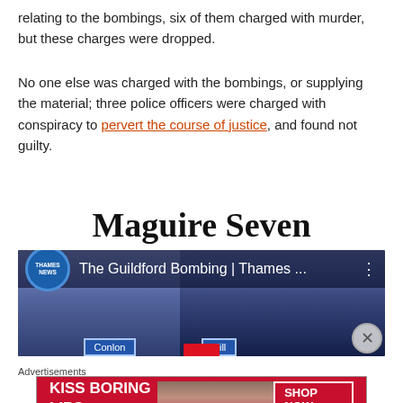relating to the bombings, six of them charged with murder, but these charges were dropped.
No one else was charged with the bombings, or supplying the material; three police officers were charged with conspiracy to pervert the course of justice, and found not guilty.
Maguire Seven
[Figure (screenshot): Thames News video thumbnail showing 'The Guildford Bombing | Thames ...' with illustrated faces of two people labeled 'Conlon' and 'Hill']
Advertisements
[Figure (photo): Macy's advertisement: 'KISS BORING LIPS GOODBYE' with SHOP NOW button and Macy's star logo]